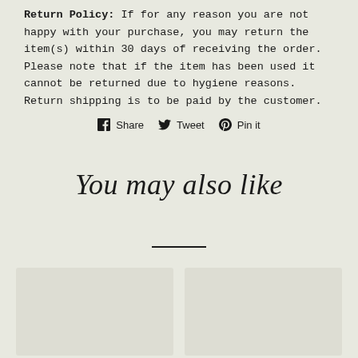Return Policy: If for any reason you are not happy with your purchase, you may return the item(s) within 30 days of receiving the order. Please note that if the item has been used it cannot be returned due to hygiene reasons. Return shipping is to be paid by the customer.
Share  Tweet  Pin it
You may also like
[Figure (other): Two product image placeholder cards side by side]